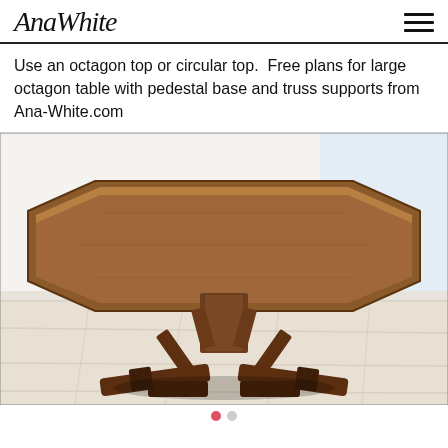AnaWhite
Use an octagon top or circular top. Free plans for large octagon table with pedestal base and truss supports from Ana-White.com
[Figure (photo): Photo of a large wooden octagon dining table with a pedestal base and truss supports, dark walnut stain, on white tile floor with bright window in background]